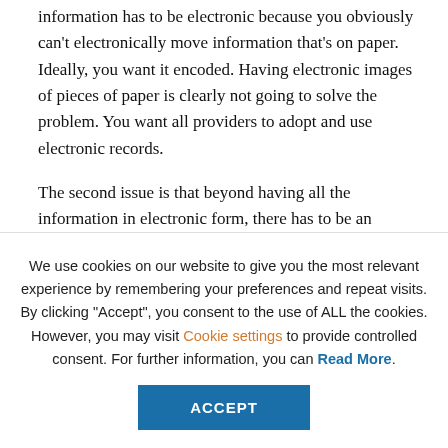information has to be electronic because you obviously can't electronically move information that's on paper. Ideally, you want it encoded. Having electronic images of pieces of paper is clearly not going to solve the problem. You want all providers to adopt and use electronic records.
The second issue is that beyond having all the information in electronic form, there has to be an effective and efficient mechanism to aggregate an
We use cookies on our website to give you the most relevant experience by remembering your preferences and repeat visits. By clicking "Accept", you consent to the use of ALL the cookies. However, you may visit Cookie settings to provide controlled consent. For further information, you can Read More.